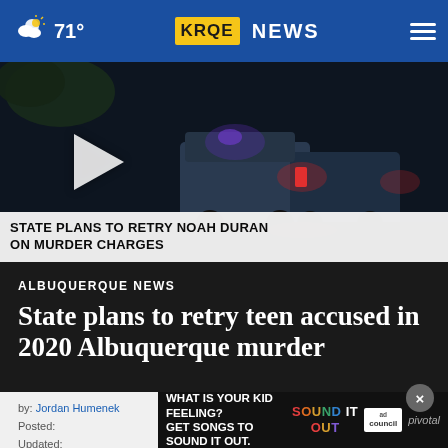71° KRQE NEWS
[Figure (screenshot): News video thumbnail showing police vehicles at night with red and purple lights. Lower-third banner reads: STATE PLANS TO RETRY NOAH DURAN ON MURDER CHARGES]
ALBUQUERQUE NEWS
State plans to retry teen accused in 2020 Albuquerque murder
by: Jordan Humenek
Posted:
Updated:
[Figure (screenshot): Advertisement banner: WHAT IS YOUR KID FEELING? GET SONGS TO SOUND IT OUT. Sound It Out | ad council | pivotal]